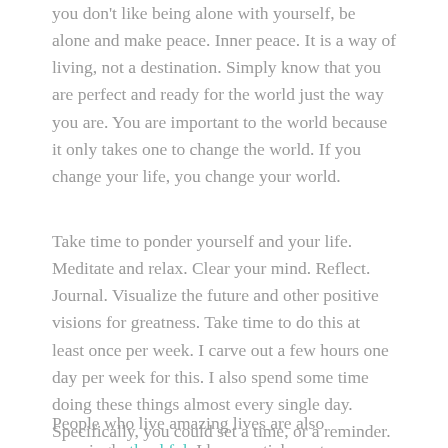you don't like being alone with yourself, be alone and make peace. Inner peace. It is a way of living, not a destination. Simply know that you are perfect and ready for the world just the way you are. You are important to the world because it only takes one to change the world. If you change your life, you change your world.
Take time to ponder yourself and your life. Meditate and relax. Clear your mind. Reflect. Journal. Visualize the future and other positive visions for greatness. Take time to do this at least once per week. I carve out a few hours one day per week for this. I also spend some time doing these things almost every single day. Specifically, you could set a time, or a reminder.
People who live amazing lives are also amazingly thankful. I have a sticky note up on the wall in my